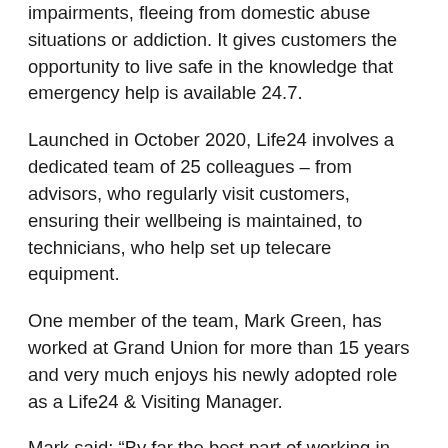impairments, fleeing from domestic abuse situations or addiction. It gives customers the opportunity to live safe in the knowledge that emergency help is available 24.7.
Launched in October 2020, Life24 involves a dedicated team of 25 colleagues – from advisors, who regularly visit customers, ensuring their wellbeing is maintained, to technicians, who help set up telecare equipment.
One member of the team, Mark Green, has worked at Grand Union for more than 15 years and very much enjoys his newly adopted role as a Life24 & Visiting Manager.
Mark said: “By far the best part of working in the Life24 team is knowing that the service is benefitting so many people – helping individuals